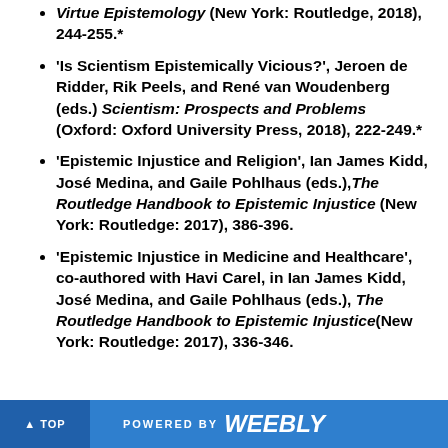Virtue Epistemology (New York: Routledge, 2018), 244-255.*
'Is Scientism Epistemically Vicious?', Jeroen de Ridder, Rik Peels, and René van Woudenberg (eds.) Scientism: Prospects and Problems (Oxford: Oxford University Press, 2018), 222-249.*
'Epistemic Injustice and Religion', Ian James Kidd, José Medina, and Gaile Pohlhaus (eds.),The Routledge Handbook to Epistemic Injustice (New York: Routledge: 2017), 386-396.
'Epistemic Injustice in Medicine and Healthcare', co-authored with Havi Carel, in Ian James Kidd, José Medina, and Gaile Pohlhaus (eds.), The Routledge Handbook to Epistemic Injustice(New York: Routledge: 2017), 336-346.
▲ TOP   POWERED BY weebly